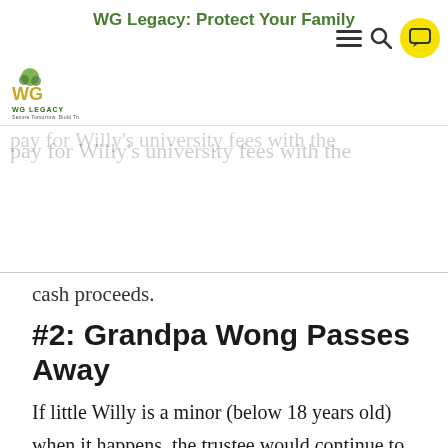WG Legacy: Protect Your Family
and W... ould choose to close the cash trust a... pay for Willy's university fees with the cash proceeds.
#2: Grandpa Wong Passes Away
If little Willy is a minor (below 18 years old) when it happens, the trustee would continue to keep Grandpa Wong's money in his cash trust. The cash trust